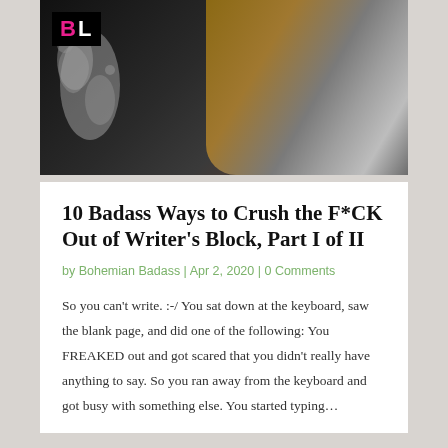[Figure (photo): Photo showing a hammer with a metal head and wooden handle against a dark background, alongside a black sign with white and pink text reading 'BL' (partial, likely 'BLOCK') and a white splatter effect on the left side.]
10 Badass Ways to Crush the F*CK Out of Writer’s Block, Part I of II
by Bohemian Badass | Apr 2, 2020 | 0 Comments
So you can’t write. :-/ You sat down at the keyboard, saw the blank page, and did one of the following: You FREAKED out and got scared that you didn’t really have anything to say. So you ran away from the keyboard and got busy with something else. You started typing…